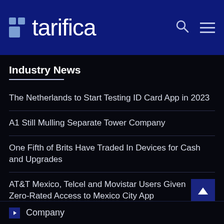tarifica
Industry News
The Netherlands to Start Testing ID Card App in 2023
A1 Still Mulling Separate Tower Company
One Fifth of Brits Have Traded In Devices for Cash and Upgrades
AT&T Mexico, Telcel and Movistar Users Given Zero-Rated Access to Mexico City App
Company